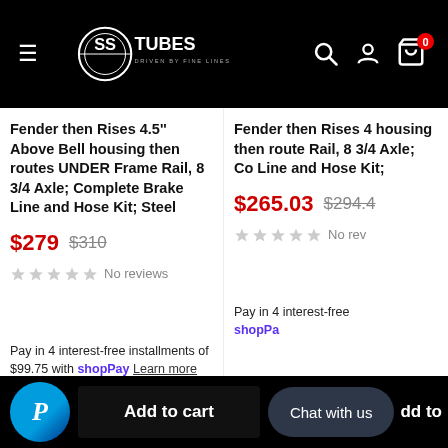[Figure (screenshot): SS Tubes e-commerce website header with logo, hamburger menu, search icon, account icon, and cart icon with 0 badge on black background]
Fender then Rises 4.5'' Above Bell housing then routes UNDER Frame Rail, 8 3/4 Axle; Complete Brake Line and Hose Kit; Steel
$279  $310
No reviews
Fender then Rises 4 housing then route Rail, 8 3/4 Axle; Co Line and Hose Kit;
$265.03  $294.4
No rev
Pay in 4 interest-free installments of $99.75 with shop Pay  Learn more
Pay in 4 interest-free shop Pa
Add to cart
Chat with us
dd to